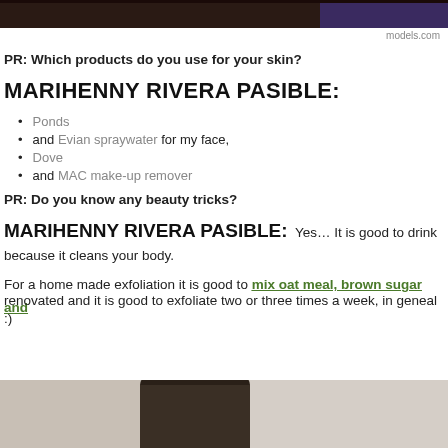[Figure (photo): Top cropped photo of model(s), dark background]
models.com
PR: Which products do you use for your skin?
MARIHENNY RIVERA PASIBLE:
Ponds
and Evian spraywater for my face,
Dove
and MAC make-up remover
PR: Do you know any beauty tricks?
MARIHENNY RIVERA PASIBLE:
Yes… It is good to drink because it cleans your body.
For a home made exfoliation it is good to mix oat meal, brown sugar and renovated and it is good to exfoliate two or three times a week, in geneal :)
[Figure (photo): Bottom photo of a person wearing a dark hat, indoor setting]